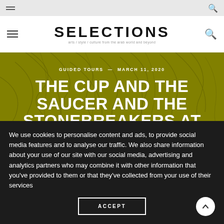SELECTIONS — arts / style / culture from the arab world and beyond
GUIDED TOURS — MARCH 11, 2020
THE CUP AND THE SAUCER AND THE STONEBREAKERS AT WAREHOUSE421
We use cookies to personalise content and ads, to provide social media features and to analyse our traffic. We also share information about your use of our site with our social media, advertising and analytics partners who may combine it with other information that you've provided to them or that they've collected from your use of their services
ACCEPT